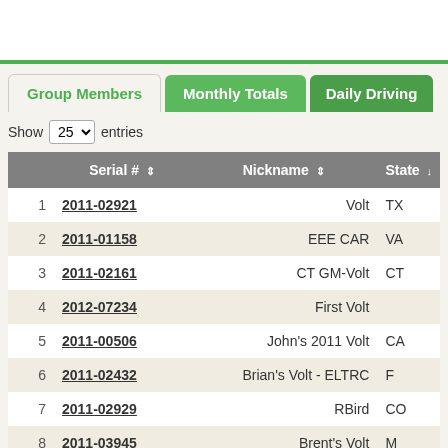|  | Serial # | Nickname | State |
| --- | --- | --- | --- |
| 1 | 2011-02921 | Volt | TX |
| 2 | 2011-01158 | EEE CAR | VA |
| 3 | 2011-02161 | CT GM-Volt | CT |
| 4 | 2012-07234 | First Volt |  |
| 5 | 2011-00506 | John's 2011 Volt | CA |
| 6 | 2011-02432 | Brian's Volt - ELTRC | F |
| 7 | 2011-02929 | RBird | CO |
| 8 | 2011-03945 | Brent's Volt | M |
| 9 | 2011-01279 | Jack's volt | N |